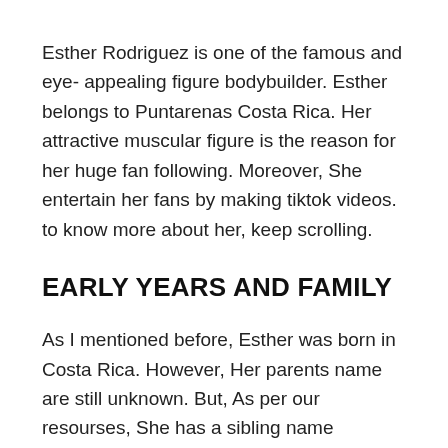Esther Rodriguez is one of the famous and eye- appealing figure bodybuilder. Esther belongs to Puntarenas Costa Rica. Her attractive muscular figure is the reason for her huge fan following. Moreover, She entertain her fans by making tiktok videos. to know more about her, keep scrolling.
EARLY YEARS AND FAMILY
As I mentioned before, Esther was born in Costa Rica. However, Her parents name are still unknown. But, As per our resourses, She has a sibling name Marcela R Sosaa. Her sister is also fitness lover. Sadly, There is no more information about Esther's family